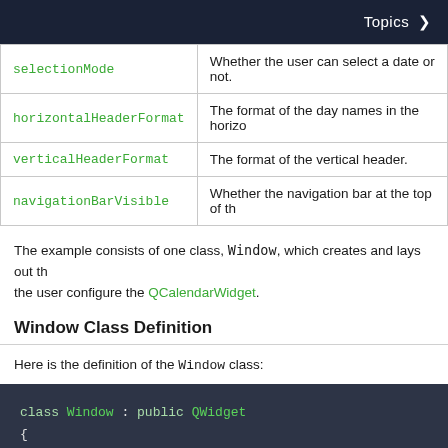Topics >
| Property | Description |
| --- | --- |
| selectionMode | Whether the user can select a date or not. |
| horizontalHeaderFormat | The format of the day names in the horizo... |
| verticalHeaderFormat | The format of the vertical header. |
| navigationBarVisible | Whether the navigation bar at the top of th... |
The example consists of one class, Window, which creates and lays out the user configure the QCalendarWidget.
Window Class Definition
Here is the definition of the Window class:
[Figure (screenshot): Code block showing C++ class definition: class Window : public QWidget { Q_OBJECT public: Window(QWidget *parent = nullptr);]